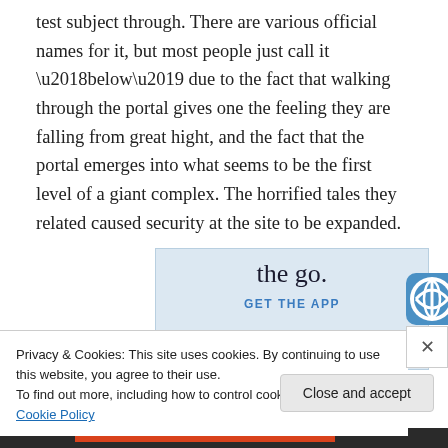test subject through. There are various official names for it, but most people just call it ‘below’ due to the fact that walking through the portal gives one the feeling they are falling from great hight, and the fact that the portal emerges into what seems to be the first level of a giant complex. The horrified tales they related caused security at the site to be expanded.
[Figure (other): Advertisement banner with text 'the go.' and 'GET THE APP' link in blue, with a WordPress logo icon on the right]
Privacy & Cookies: This site uses cookies. By continuing to use this website, you agree to their use.
To find out more, including how to control cookies, see here: Cookie Policy
Close and accept